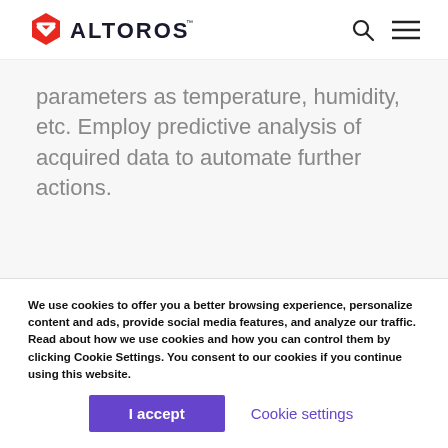ALTOROS
parameters as temperature, humidity, etc. Employ predictive analysis of acquired data to automate further actions.
[Figure (illustration): Gear icon with orange cog and purple upward arrows, representing automation or settings upgrade]
We use cookies to offer you a better browsing experience, personalize content and ads, provide social media features, and analyze our traffic. Read about how we use cookies and how you can control them by clicking Cookie Settings. You consent to our cookies if you continue using this website.
I accept
Cookie settings